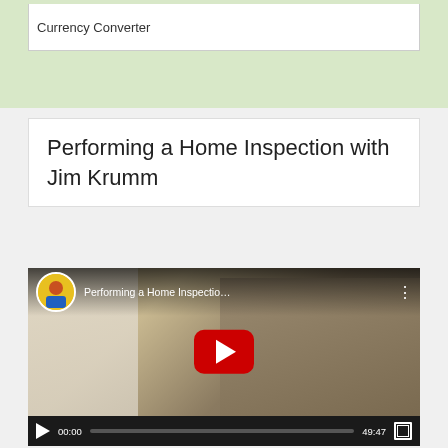Currency Converter
Performing a Home Inspection with Jim Krumm
[Figure (screenshot): YouTube video embed showing a home inspector on a staircase. Video title: 'Performing a Home Inspectio...' with channel avatar. Large red YouTube play button in center. Control bar shows play button, timestamp 00:00, progress bar, duration 49:47, and fullscreen button.]